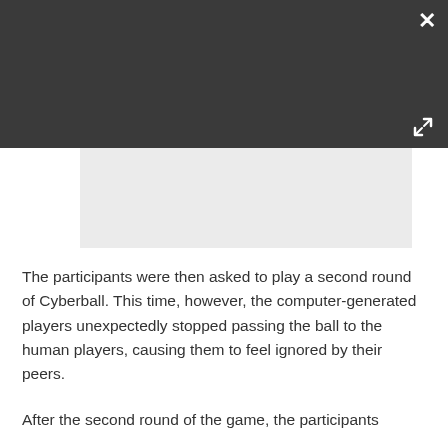[Figure (screenshot): A video player interface with dark background, a loading spinner (gray circle with gold arc), a pause button (two vertical bars), and a 'PLAY SOUND' button in the top-left area. A close (X) button is in the top-right, and an expand button is in the lower-right of the bar.]
The participants were then asked to play a second round of Cyberball. This time, however, the computer-generated players unexpectedly stopped passing the ball to the human players, causing them to feel ignored by their peers.
After the second round of the game, the participants